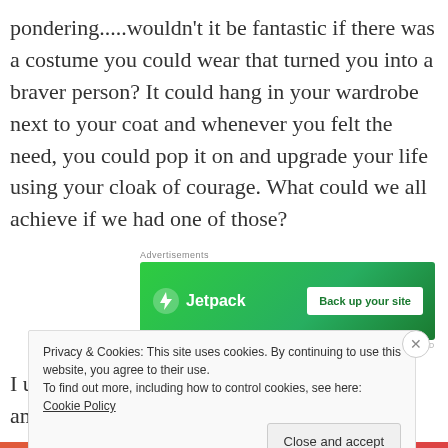pondering.....wouldn't it be fantastic if there was a costume you could wear that turned you into a braver person?  It could hang in your wardrobe next to your coat and whenever you felt the need, you could pop it on and upgrade your life using your cloak of courage. What could we all achieve if we had one of those?
[Figure (other): Jetpack advertisement banner with green background, Jetpack logo and 'Back up your site' button]
I used to work in a hospital and I was always amazed by
Privacy & Cookies: This site uses cookies. By continuing to use this website, you agree to their use.
To find out more, including how to control cookies, see here: Cookie Policy
Close and accept